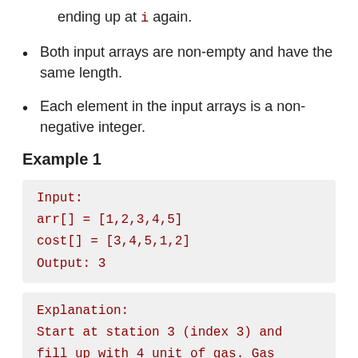ending up at i again.
Both input arrays are non-empty and have the same length.
Each element in the input arrays is a non-negative integer.
Example 1
Input:
arr[] = [1,2,3,4,5]
cost[] = [3,4,5,1,2]
Output: 3
Explanation:
Start at station 3 (index 3) and
fill up with 4 unit of gas. Gas
...